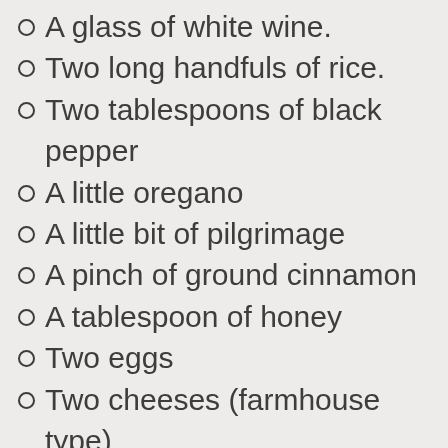A glass of white wine.
Two long handfuls of rice.
Two tablespoons of black pepper
A little oregano
A little bit of pilgrimage
A pinch of ground cinnamon
A tablespoon of honey
Two eggs
Two cheeses (farmhouse type)
Water